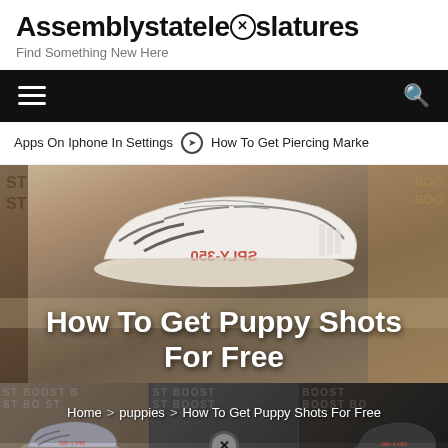Assemblystatelegislatures
Find Something New Here
Apps On Iphone In Settings  ⊙ How To Get Piercing Marke
[Figure (screenshot): Hero image of Yeezy Boost 350 V2 Zebra sneaker on a cardboard box background, with title text overlaid: How To Get Puppy Shots For Free]
Home > puppies > How To Get Puppy Shots For Free